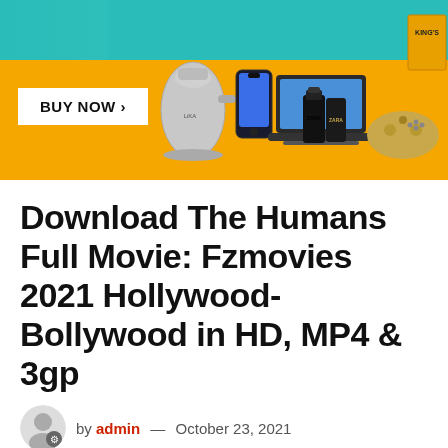[Figure (photo): Advertisement banner with orange background, teal top section, various products (kettle, phone, laptop, perfume bottles, game controller, magazine), and 'BUY NOW >' button in white box]
Download The Humans Full Movie: Fzmovies 2021 Hollywood-Bollywood in HD, MP4 & 3gp
by admin — October 23, 2021
[Figure (photo): Gray placeholder image area below the article metadata]